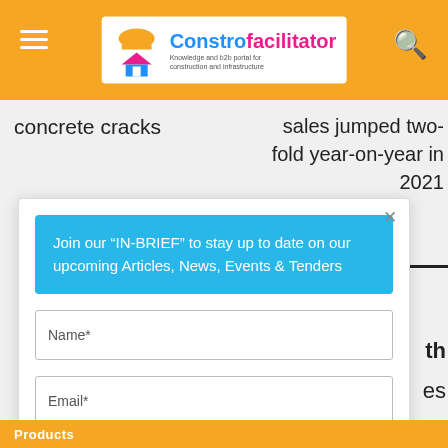Constrofacilitator — Knowledge and b2b portal for construction and infrastructure
concrete cracks
sales jumped two-fold year-on-year in 2021
[Figure (screenshot): Newsletter signup modal with fields for Name*, Email*, Industry/Civil Profession* and a red SUBMIT button, on a blue header 'Join our "IN-BRIEF" to stay up to date on our upcoming Articles, News, Events & Tenders']
Products